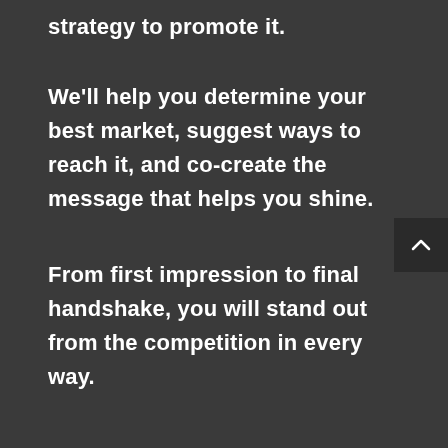strategy to promote it.
We’ll help you determine your best market, suggest ways to reach it, and co-create the message that helps you shine.
From first impression to final handshake, you will stand out from the competition in every way.
[Figure (other): Dark square button with upward-pointing caret/chevron arrow icon, positioned at bottom right]